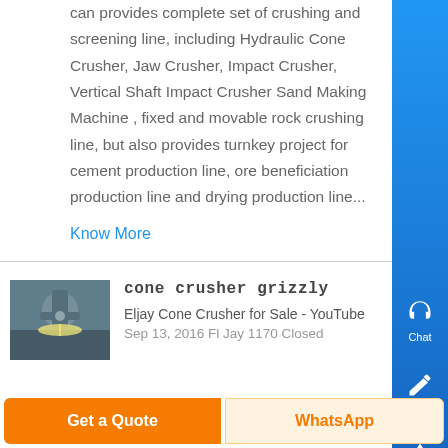can provides complete set of crushing and screening line, including Hydraulic Cone Crusher, Jaw Crusher, Impact Crusher, Vertical Shaft Impact Crusher Sand Making Machine , fixed and movable rock crushing line, but also provides turnkey project for cement production line, ore beneficiation production line and drying production line...
Know More
cone crusher grizzly
Eljay Cone Crusher for Sale - YouTube
Sep 13, 2016 Fl Jay 1170 Closed
Get a Quote
WhatsApp